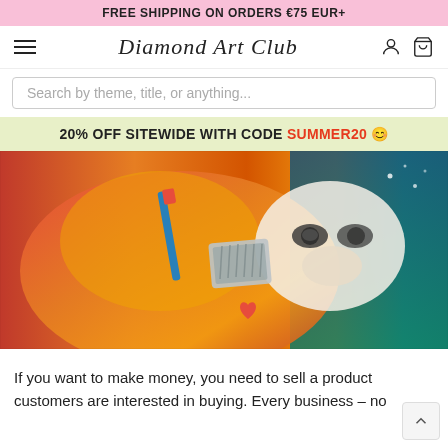FREE SHIPPING ON ORDERS €75 EUR+
Diamond Art Club
Search by theme, title, or anything...
20% OFF SITEWIDE WITH CODE SUMMER20 😊
[Figure (photo): Close-up photo of a diamond painting artwork depicting a colorful lion, with painting tools visible including a blue stylus pen and a multi-drill tray]
If you want to make money, you need to sell a product customers are interested in buying. Every business – no